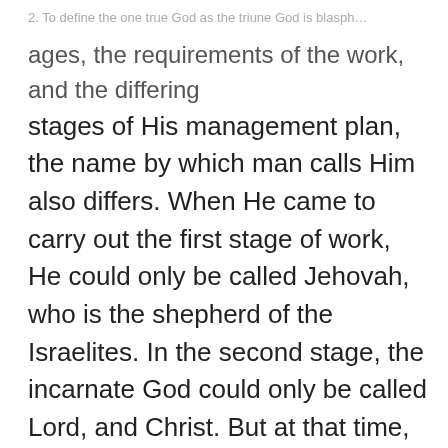2. To define the one true God as the triune God is blasph…
ages, the requirements of the work, and the differing stages of His management plan, the name by which man calls Him also differs. When He came to carry out the first stage of work, He could only be called Jehovah, who is the shepherd of the Israelites. In the second stage, the incarnate God could only be called Lord, and Christ. But at that time, the Spirit in heaven stated only that He was the beloved Son of God and made no mention of His being the only Son of God. This simply did not happen. How could God have an only child? Then would God not have become man? Because He was the incarnation, He was called the beloved Son of God, and, from this,